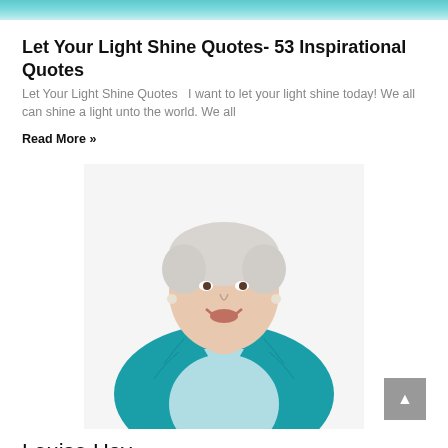[Figure (photo): Decorative teal/cyan header banner image at the top of the webpage]
Let Your Light Shine Quotes- 53 Inspirational Quotes
Let Your Light Shine Quotes   I want to let your light shine today! We all can shine a light unto the world. We all
Read More »
[Figure (photo): Portrait photo of Louise Hay, an elderly woman with short white hair, wearing a teal/turquoise blazer over a light blue top, smiling at the camera against a white background]
Louise Hay
Read More »